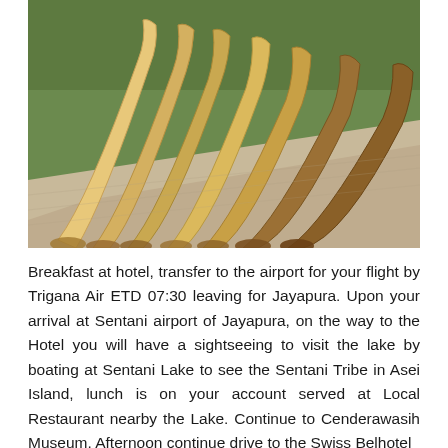[Figure (photo): Several elongated bamboo tubes (didgeridoo-like instruments) laid out on a cloth on green grass, arranged fan-like from upper center spreading downward.]
Breakfast at hotel, transfer to the airport for your flight by Trigana Air ETD 07:30 leaving for Jayapura. Upon your arrival at Sentani airport of Jayapura, on the way to the Hotel you will have a sightseeing to visit the lake by boating at Sentani Lake to see the Sentani Tribe in Asei Island, lunch is on your account served at Local Restaurant nearby the Lake. Continue to Cenderawasih Museum. Afternoon continue drive to the Swiss Belhotel